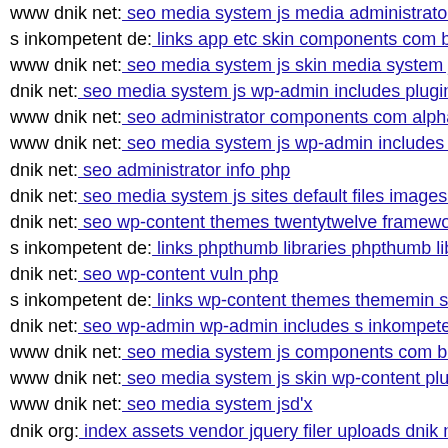www dnik net: seo media system js media administrator c...
s inkompetent de: links app etc skin components com b2jc...
www dnik net: seo media system js skin media system js 4...
dnik net: seo media system js wp-admin includes plugins d...
www dnik net: seo administrator components com alphaco...
www dnik net: seo media system js wp-admin includes wp...
dnik net: seo administrator info php
dnik net: seo media system js sites default files images sto...
dnik net: seo wp-content themes twentytwelve framework...
s inkompetent de: links phpthumb libraries phpthumb lib p...
dnik net: seo wp-content vuln php
s inkompetent de: links wp-content themes thememin style...
dnik net: seo wp-admin wp-admin includes s inkompetent...
www dnik net: seo media system js components com b2jco...
www dnik net: seo media system js skin wp-content plugin...
www dnik net: seo media system jsd'x
dnik org: index assets vendor jquery filer uploads dnik net...
www s inkompetent de: links manager skin wp-content plu...
dnik net: seo profile register s inkompetent de
s inkompetent de: links phpthumb api
s inkompetent de: links manager components com foxcont...